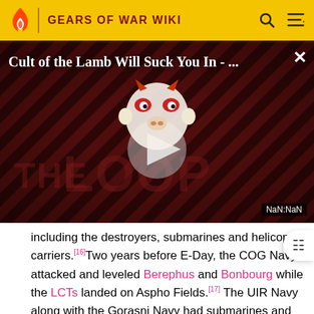GEARS OF WAR WIKI
[Figure (screenshot): Video thumbnail for 'Cult of the Lamb Will Suck You In - ...' with a play button overlay, diagonal dark red stripes background, cartoon character, and 'THE LOOP' watermark. Shows NaN:NaN timestamp.]
including the destroyers, submarines and helicopter carriers.[16]Two years before E-Day, the COG Navy attacked and leveled Berephus and Bonbourg while the LCTs landed on Aspho Fields.[17] The UIR Navy along with the Gorasni Navy had submarines and missile frigates that are able to survive the Pendulum Wars and